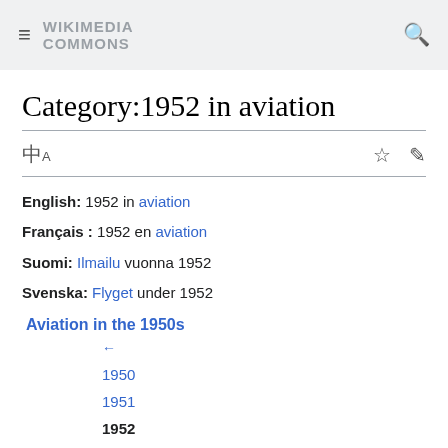WIKIMEDIA COMMONS
Category:1952 in aviation
English: 1952 in aviation
Français : 1952 en aviation
Suomi: Ilmailu vuonna 1952
Svenska: Flyget under 1952
Aviation in the 1950s
←
1950
1951
1952
1953
1954